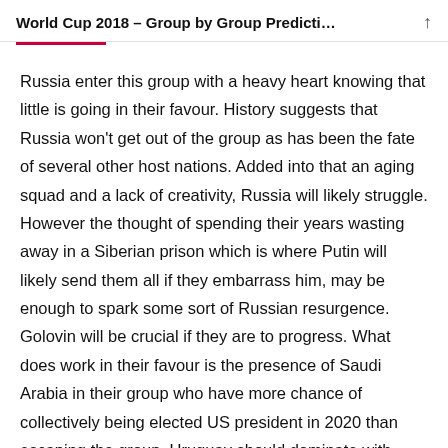World Cup 2018 – Group by Group Predicti…
Russia enter this group with a heavy heart knowing that little is going in their favour. History suggests that Russia won't get out of the group as has been the fate of several other host nations. Added into that an aging squad and a lack of creativity, Russia will likely struggle. However the thought of spending their years wasting away in a Siberian prison which is where Putin will likely send them all if they embarrass him, may be enough to spark some sort of Russian resurgence. Golovin will be crucial if they are to progress. What does work in their favour is the presence of Saudi Arabia in their group who have more chance of collectively being elected US president in 2020 than escaping the group. Uruguay should dominate with ease